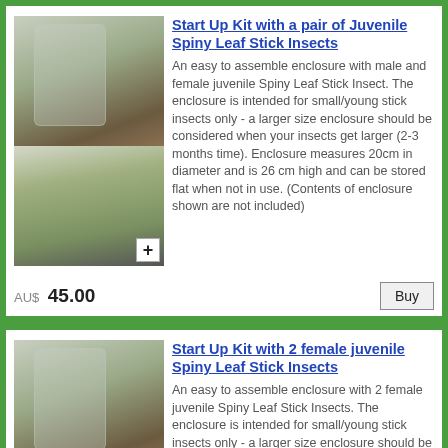[Figure (photo): Two stacked photos: top shows a glass cylindrical enclosure with green plant material on a wooden surface; bottom shows a spiny leaf stick insect on plant foliage]
Start Up Kit with a pair of Juvenile Spiny Leaf Stick Insects
An easy to assemble enclosure with male and female juvenile Spiny Leaf Stick Insect. The enclosure is intended for small/young stick insects only - a larger size enclosure should be considered when your insects get larger (2-3 months time). Enclosure measures 20cm in diameter and is 26 cm high and can be stored flat when not in use. (Contents of enclosure shown are not included)
AU$ 45.00
[Figure (photo): Two stacked photos: top shows a glass cylindrical enclosure with green plant material on a wooden surface; bottom shows a stick insect on plant foliage]
Start Up Kit with 2 female juvenile Spiny Leaf Stick Insects
An easy to assemble enclosure with 2 female juvenile Spiny Leaf Stick Insects. The enclosure is intended for small/young stick insects only - a larger size enclosure should be considered when your insects